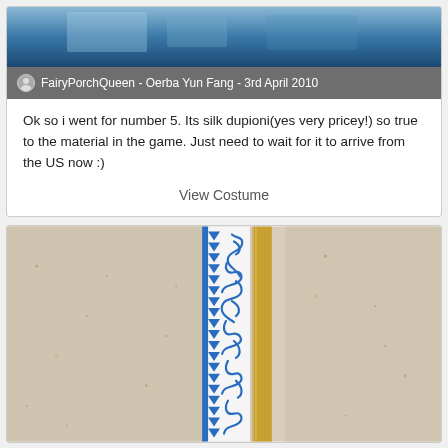[Figure (screenshot): Top portion of a social media post showing a blue-toned background image at the top]
FairyPorchQueen - Oerba Yun Fang - 3rd April 2010
Ok so i went for number 5. Its silk dupioni(yes very pricey!) so true to the material in the game. Just need to wait for it to arrive from the US now :)
View Costume
[Figure (photo): Close-up photo of a white ribbon or trim with blue decorative print patterns (triangles and floral/script motifs) next to a gold/yellow trim, placed on a beige speckled surface]